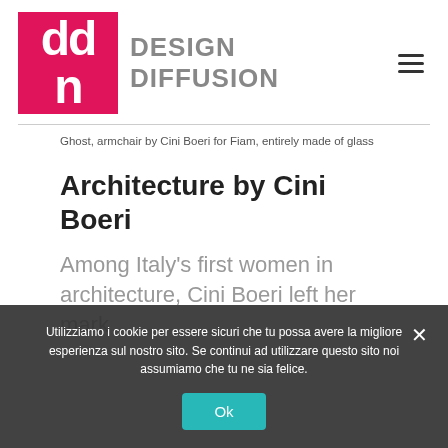[Figure (logo): Design Diffusion logo: pink/red square with 'ddn' letters in white, followed by bold grey text 'DESIGN DIFFUSION']
Ghost, armchair by Cini Boeri for Fiam, entirely made of glass
Architecture by Cini Boeri
Among Italy's first women in architecture, Cini Boeri left her mark
Utilizziamo i cookie per essere sicuri che tu possa avere la migliore esperienza sul nostro sito. Se continui ad utilizzare questo sito noi assumiamo che tu ne sia felice.